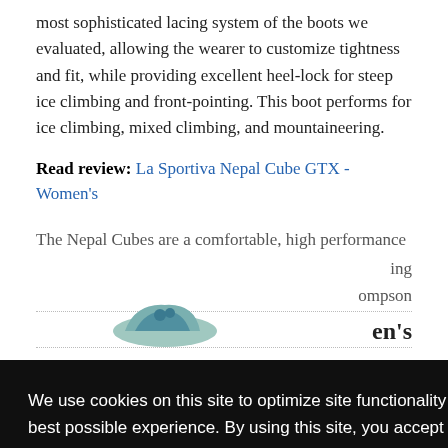most sophisticated lacing system of the boots we evaluated, allowing the wearer to customize tightness and fit, while providing excellent heel-lock for steep ice climbing and front-pointing. This boot performs for ice climbing, mixed climbing, and mountaineering.
Read review: La Sportiva Nepal Cube GTX - Women's
The Nepal Cubes are a comfortable, high performance
ing ...ompson
en's
We use cookies on this site to optimize site functionality and give you the best possible experience. By using this site, you accept our use of cookies. Learn more
Got it!
[Figure (photo): Partial view of a mountaineering boot at the bottom of the page]